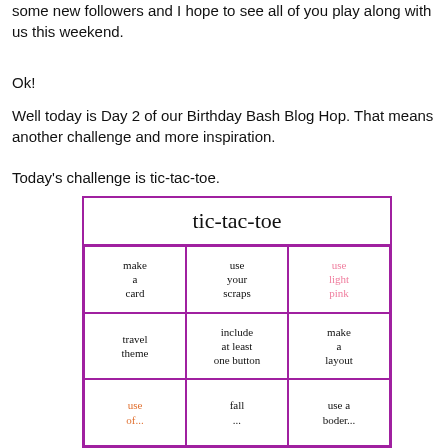some new followers and I hope to see all of you play along with us this weekend.
Ok!
Well today is Day 2 of our Birthday Bash Blog Hop. That means another challenge and more inspiration.
Today's challenge is tic-tac-toe.
[Figure (other): A tic-tac-toe grid with handwritten scrapbooking challenge options: title 'tic-tac-toe', cells: make a card, use your scraps, use light pink, travel theme, include at least one button, make a layout, use [orange partial], fall [partial], use a [partial]]